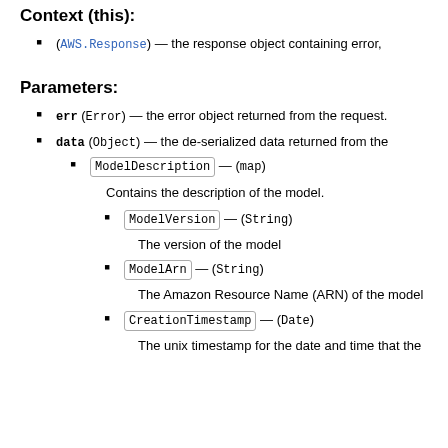Context (this):
(AWS.Response) — the response object containing error,
Parameters:
err (Error) — the error object returned from the request.
data (Object) — the de-serialized data returned from the
ModelDescription — (map)
Contains the description of the model.
ModelVersion — (String)
The version of the model
ModelArn — (String)
The Amazon Resource Name (ARN) of the model
CreationTimestamp — (Date)
The unix timestamp for the date and time that the